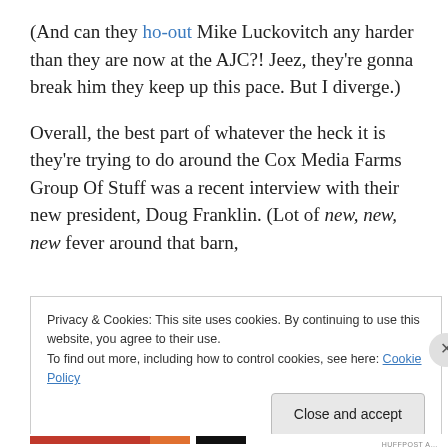(And can they ho-out Mike Luckovitch any harder than they are now at the AJC?! Jeez, they're gonna break him they keep up this pace. But I diverge.)
Overall, the best part of whatever the heck it is they're trying to do around the Cox Media Farms Group Of Stuff was a recent interview with their new president, Doug Franklin. (Lot of new, new, new fever around that barn,
Privacy & Cookies: This site uses cookies. By continuing to use this website, you agree to their use.
To find out more, including how to control cookies, see here: Cookie Policy